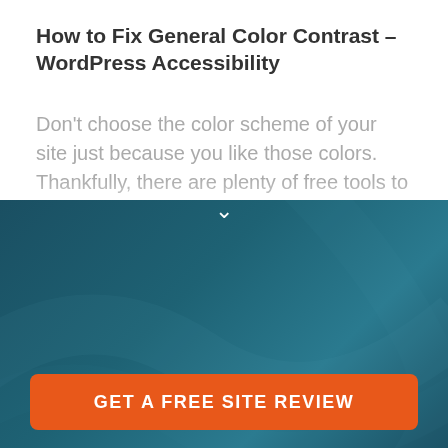How to Fix General Color Contrast – WordPress Accessibility
Don't choose the color scheme of your site just because you like those colors. Thankfully, there are plenty of free tools to choose the…
Looking for some advice for your WordPress site?
Let our experts review your website performance, backups, security settings, user experience and answer all of your WordPress questions for FREE.
GET A FREE SITE REVIEW